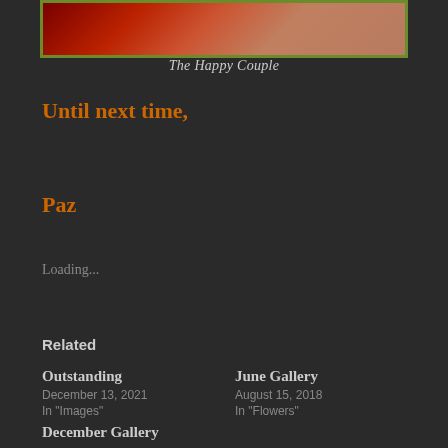[Figure (photo): Partial photo of a couple, showing reddish and skin-toned areas, framed with an olive green border]
The Happy Couple
Until next time,
Paz
Loading...
Related
Outstanding
December 13, 2021
In "Images"
June Gallery
August 15, 2018
In "Flowers"
December Gallery